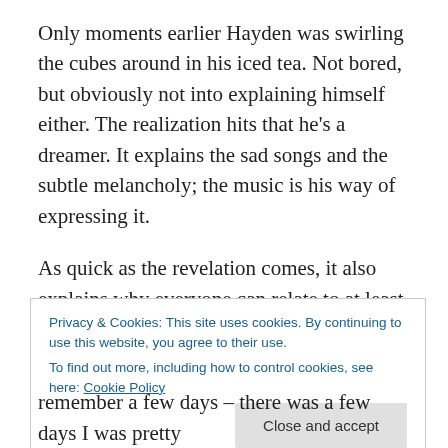Only moments earlier Hayden was swirling the cubes around in his iced tea. Not bored, but obviously not into explaining himself either. The realization hits that he's a dreamer. It explains the sad songs and the subtle melancholy; the music is his way of expressing it.
As quick as the revelation comes, it also explains why everyone can relate to at least something of what Hayden says. He's creating the soundtracks for all the lonely bedroom rock stars, for the people who find that the DJ says nothing to them about their lives.
Privacy & Cookies: This site uses cookies. By continuing to use this website, you agree to their use.
To find out more, including how to control cookies, see here: Cookie Policy
Close and accept
remember a few days – there was a few days I was pretty